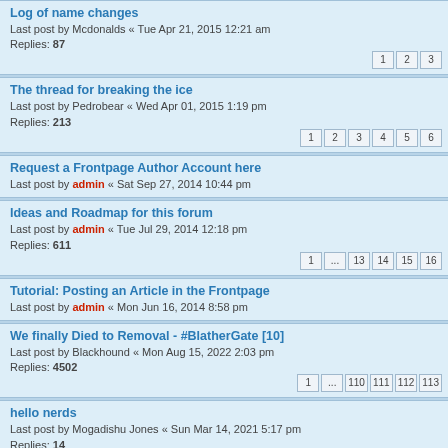Log of name changes
Last post by Mcdonalds « Tue Apr 21, 2015 12:21 am
Replies: 87
The thread for breaking the ice
Last post by Pedrobear « Wed Apr 01, 2015 1:19 pm
Replies: 213
Request a Frontpage Author Account here
Last post by admin « Sat Sep 27, 2014 10:44 pm
Ideas and Roadmap for this forum
Last post by admin « Tue Jul 29, 2014 12:18 pm
Replies: 611
Tutorial: Posting an Article in the Frontpage
Last post by admin « Mon Jun 16, 2014 8:58 pm
We finally Died to Removal - #BlatherGate [10]
Last post by Blackhound « Mon Aug 15, 2022 2:03 pm
Replies: 4502
hello nerds
Last post by Mogadishu Jones « Sun Mar 14, 2021 5:17 pm
Replies: 14
Mtg salvation closing down
Last post by Jesus « Thu Aug 08, 2019 10:08 pm
Replies: 85
[Ærticle] - If You Can't Take Criticism of Jeremy Hambly, You're Part of the Problem
Last post by Blackhound « Sat Aug 04, 2018 1:27 pm
Replies: 76
Mission Statement - Approllo Draft